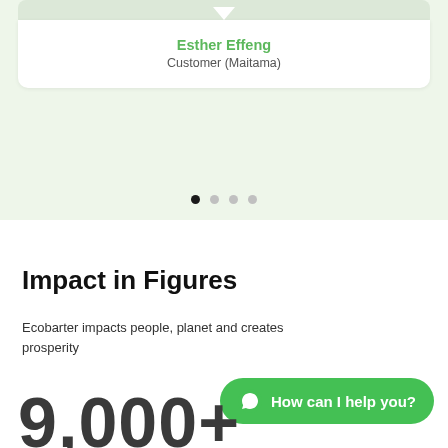[Figure (screenshot): Testimonial card with name Esther Effeng (Customer, Maitama) on a light green background, with carousel dots below]
Esther Effeng
Customer (Maitama)
Impact in Figures
Ecobarter impacts people, planet and creates prosperity
How can I help you?
9,000+